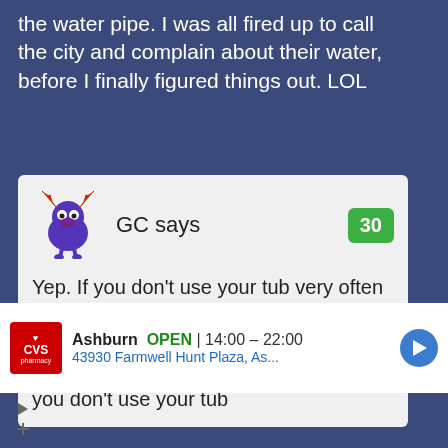the water pipe. I was all fired up to call the city and complain about their water, before I finally figured things out. LOL
[Figure (illustration): Purple cartoon monster avatar with red antlers]
GC says
30
Yep. If you don't use your tub very often common mold and algae will build up in the pipes... Yep that's sucks I know. You have to flush it out with cleaner first if you don't use your tub
[Figure (screenshot): CVS Pharmacy ad: Ashburn OPEN 14:00 - 22:00, 43930 Farmwell Hunt Plaza, As...]